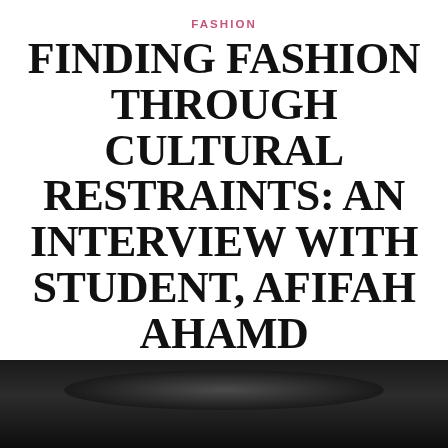FASHION
FINDING FASHION THROUGH CULTURAL RESTRAINTS: AN INTERVIEW WITH STUDENT, AFIFAH AHAMD
SEPTEMBER 21, 2016  LEAVE A COMMENT
[Figure (photo): Black and white photograph, showing close-up of a person wearing a wide-brim dark hat, partially cut off at bottom of page.]